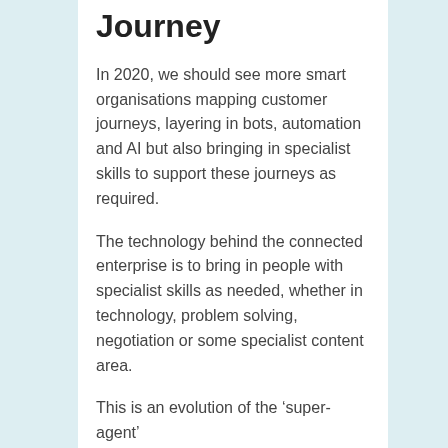Journey
In 2020, we should see more smart organisations mapping customer journeys, layering in bots, automation and AI but also bringing in specialist skills to support these journeys as required.
The technology behind the connected enterprise is to bring in people with specialist skills as needed, whether in technology, problem solving, negotiation or some specialist content area.
This is an evolution of the ‘super-agent’